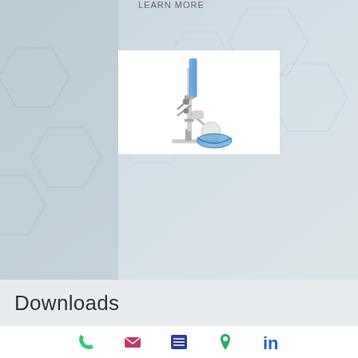LEARN MORE
[Figure (photo): Laboratory rotary evaporator instrument on white background — tall vertical condenser column in blue/chrome, flask assembly, and blue water bath bowl.]
Downloads
Phone | Email | Menu | Location | LinkedIn icons